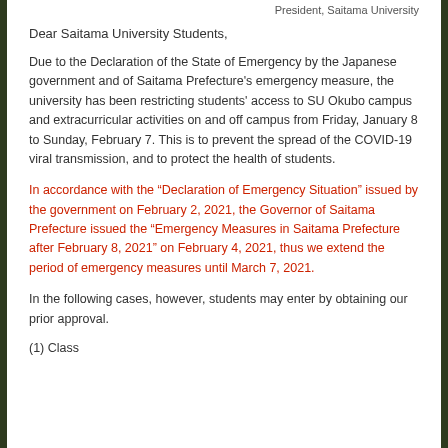President, Saitama University
Dear Saitama University Students,
Due to the Declaration of the State of Emergency by the Japanese government and of Saitama Prefecture's emergency measure, the university has been restricting students' access to SU Okubo campus and extracurricular activities on and off campus from Friday, January 8 to Sunday, February 7. This is to prevent the spread of the COVID-19 viral transmission, and to protect the health of students.
In accordance with the “Declaration of Emergency Situation” issued by the government on February 2, 2021, the Governor of Saitama Prefecture issued the “Emergency Measures in Saitama Prefecture after February 8, 2021” on February 4, 2021, thus we extend the period of emergency measures until March 7, 2021.
In the following cases, however, students may enter by obtaining our prior approval.
(1) Class